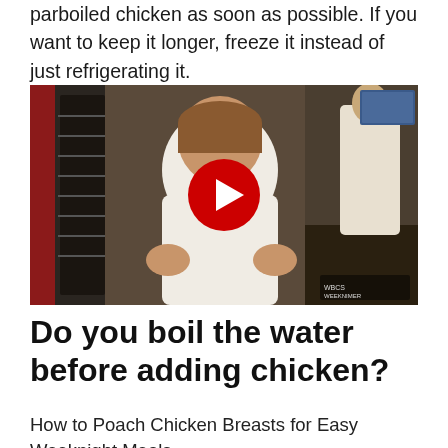parboiled chicken as soon as possible. If you want to keep it longer, freeze it instead of just refrigerating it.
[Figure (screenshot): YouTube video thumbnail showing a female chef in a white coat in a professional kitchen, with a red YouTube play button overlay in the center.]
Do you boil the water before adding chicken?
How to Poach Chicken Breasts for Easy Weeknight Meals